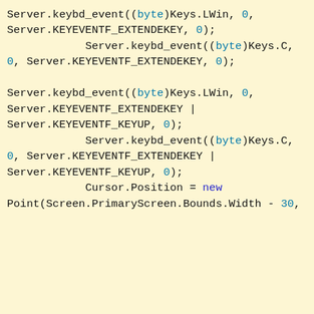[Figure (screenshot): Code snippet in a light yellow background showing C# code with Server.keybd_event calls using byte casts, Keys.LWin, Keys.C, KEYEVENTF_EXTENDEDEKEY, KEYEVENTF_KEYUP constants and Cursor.Position assignment]
...ition and ...ort to making ...ld think that ...ork that ...ered but they ...h-t th-t th--ht t- hhl-
Like every other website we use cookies. By using our site you acknowledge that you have read and understand our Cookie Policy, Privacy Policy, and our Terms of Service. Learn more